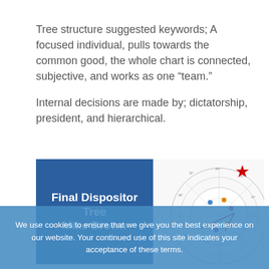Tree structure suggested keywords; A focused individual, pulls towards the common good, the whole chart is connected, subjective, and works as one “team.”
Internal decisions are made by; dictatorship, president, and hierarchical.
[Figure (other): Blue box with text 'Final Dispositor Tree Mike Brown' next to a partial astrological chart wheel with a red star marker]
We use cookies to ensure that we give you the best experience on our website. Your continued use of this site indicates your acceptance of these terms.